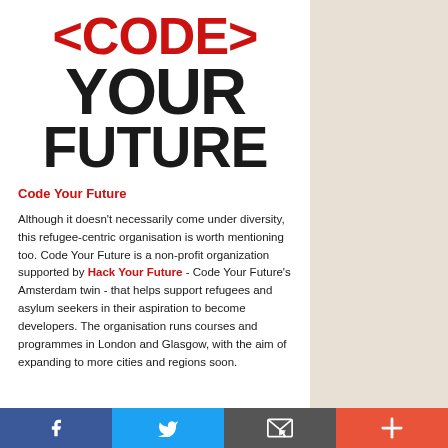[Figure (logo): Code Your Future logo with angle bracket styling: <CODE> in red, YOUR FUTURE in dark/black, bold slab/impact font]
Code Your Future
Although it doesn't necessarily come under diversity, this refugee-centric organisation is worth mentioning too. Code Your Future is a non-profit organization supported by Hack Your Future - Code Your Future's Amsterdam twin - that helps support refugees and asylum seekers in their aspiration to become developers. The organisation runs courses and programmes in London and Glasgow, with the aim of expanding to more cities and regions soon.
[Figure (infographic): Footer bar with four social media/action buttons: Facebook (blue), Twitter (light blue), Email/envelope (dark grey), Plus/add (red-orange)]